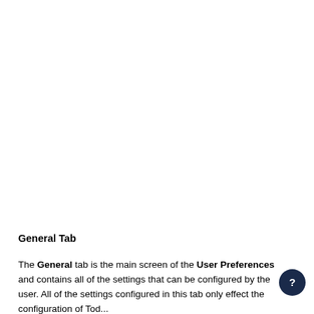General Tab
The General tab is the main screen of the User Preferences and contains all of the settings that can be configured by the user. All of the settings configured in this tab only effect the configuration of Tod...